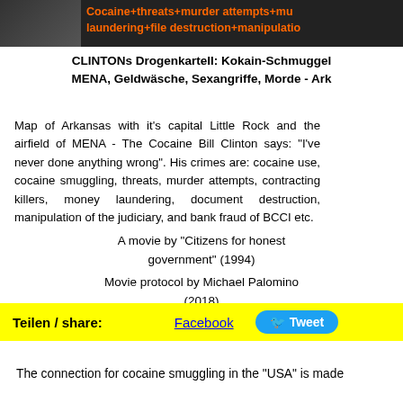[Figure (photo): Partial screenshot showing orange text on dark background: 'Cocaine+threats+murder attempts+murder laundering+file destruction+manipulation']
CLINTONs Drogenkartell: Kokain-Schmuggel MENA, Geldwäsche, Sexangriffe, Morde - Ark...
Map of Arkansas with it's capital Little Rock and the airfield of MENA - The Cocaine Bill Clinton says: "I've never done anything wrong". His crimes are: cocaine use, cocaine smuggling, threats, murder attempts, contracting killers, money laundering, document destruction, manipulation of the judiciary, and bank fraud of BCCI etc.
A movie by "Citizens for honest government" (1994)
Movie protocol by Michael Palomino (2018)
Teilen / share:   Facebook   Tweet
The connection for cocaine smuggling in the "USA" is made